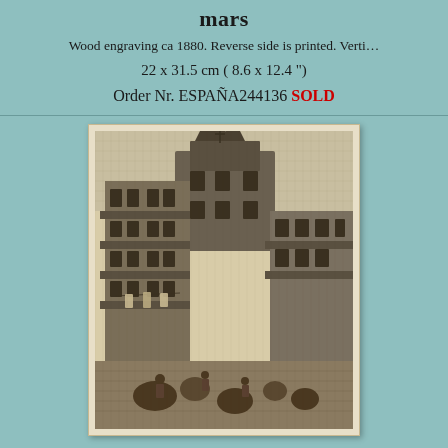mars
Wood engraving ca 1880. Reverse side is printed. Verti…
22 x 31.5 cm ( 8.6 x 12.4 ")
Order Nr. ESPAÑA244136 SOLD
[Figure (illustration): Black and white wood engraving ca 1880 showing a narrow street scene in Spain with tall multi-storey buildings featuring balconies and overhanging upper floors, figures in the street below, and a church or tower visible in the background.]